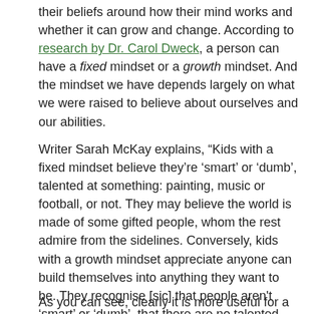their beliefs around how their mind works and whether it can grow and change. According to research by Dr. Carol Dweck, a person can have a fixed mindset or a growth mindset. And the mindset we have depends largely on what we were raised to believe about ourselves and our abilities.
Writer Sarah McKay explains, “Kids with a fixed mindset believe they’re ‘smart’ or ‘dumb’, talented at something: painting, music or football, or not. They may believe the world is made of some gifted people, whom the rest admire from the sidelines. Conversely, kids with a growth mindset appreciate anyone can build themselves into anything they want to be. They recognise [sic] that people aren't ‘smart’ or ‘dumb’, that there are no talented geniuses; only hard-working people who have chosen to take their abilities to the next level.”
As you can see, clearly it is more useful for a child to work from a growth mindset, with the belief that